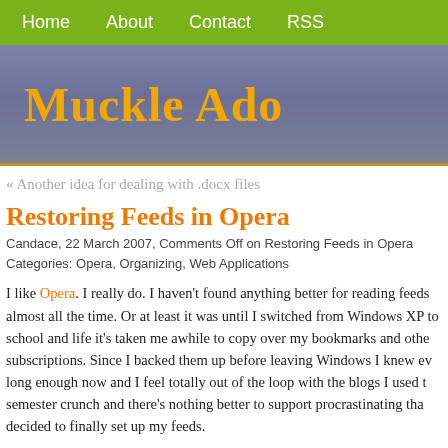Home   About   Contact   RSS
Muckle Ado
« Another idea for dealing with .docx files
Restoring Feeds in Opera
Candace, 22 March 2007, Comments Off on Restoring Feeds in Opera
Categories: Opera, Organizing, Web Applications
I like Opera. I really do. I haven't found anything better for reading feeds almost all the time. Or at least it was until I switched from Windows XP to school and life it's taken me awhile to copy over my bookmarks and other subscriptions. Since I backed them up before leaving Windows I knew even long enough now and I feel totally out of the loop with the blogs I used to semester crunch and there's nothing better to support procrastinating tha decided to finally set up my feeds.
It wasn't that hard really: